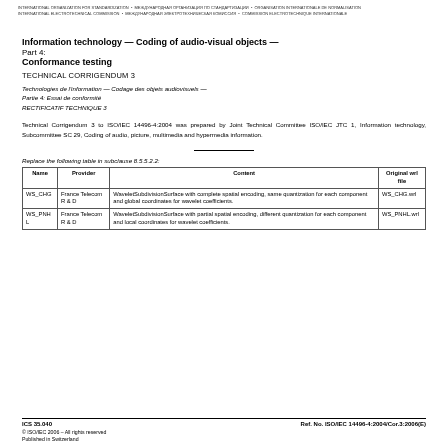INTERNATIONAL ORGANIZATION FOR STANDARDIZATION • МЕЖДУНАРОДНАЯ ОРГАНИЗАЦИЯ ПО СТАНДАРТИЗАЦИИ • ORGANISATION INTERNATIONALE DE NORMALISATION INTERNATIONAL ELECTROTECHNICAL COMMISSION • МЕЖДУНАРОДНАЯ ЭЛЕКТРОТЕХНИЧЕСКАЯ КОМИССИЯ • COMMISSION ELECTROTECHNIQUE INTERNATIONALE
Information technology — Coding of audio-visual objects —
Part 4:
Conformance testing
TECHNICAL CORRIGENDUM 3
Technologies de l'information — Codage des objets audiovisuels —
Partie 4: Essai de conformité
RECTIFICATIF TECHNIQUE 3
Technical Corrigendum 3 to ISO/IEC 14496-4:2004 was prepared by Joint Technical Committee ISO/IEC JTC 1, Information technology, Subcommittee SC 29, Coding of audio, picture, multimedia and hypermedia information.
Replace the following table in subclause 8.5.5.2.2:
| Name | Provider | Content | Original wrl file |
| --- | --- | --- | --- |
| WS_CHG | France Telecom R & D | WaveletSubdivisionSurface with complete spatial encoding, same quantization for each component and global coordinates for wavelet coefficients. | WS_CHG.wrl |
| WS_PNHL | France Telecom R & D | WaveletSubdivisionSurface with partial spatial encoding, different quantization for each component and local coordinates for wavelet coefficients. | WS_PNHL.wrl |
ICS 35.040    Ref. No. ISO/IEC 14496-4:2004/Cor.3:2006(E)
© ISO/IEC 2006 – All rights reserved
Published in Switzerland